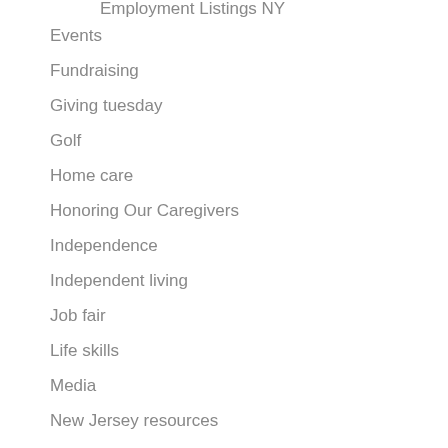Employment Listings NY
Events
Fundraising
Giving tuesday
Golf
Home care
Honoring Our Caregivers
Independence
Independent living
Job fair
Life skills
Media
New Jersey resources
News
Poetry